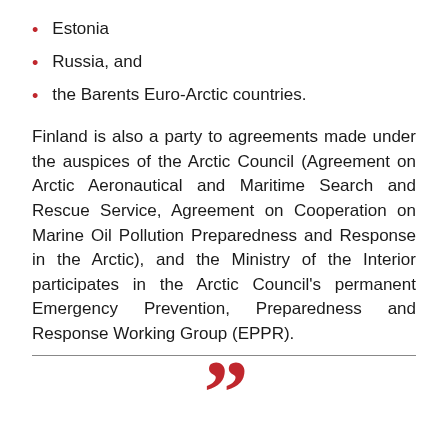Estonia
Russia, and
the Barents Euro-Arctic countries.
Finland is also a party to agreements made under the auspices of the Arctic Council (Agreement on Arctic Aeronautical and Maritime Search and Rescue Service, Agreement on Cooperation on Marine Oil Pollution Preparedness and Response in the Arctic), and the Ministry of the Interior participates in the Arctic Council's permanent Emergency Prevention, Preparedness and Response Working Group (EPPR).
[Figure (illustration): Large red closing double quotation mark at the bottom center of the page]